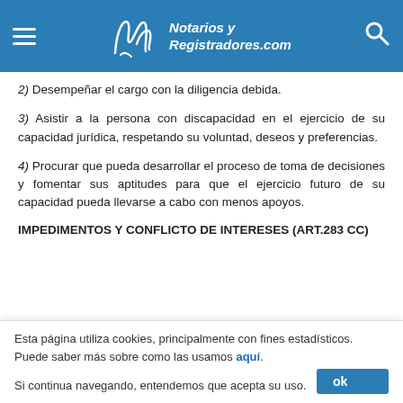Notarios y Registradores.com
2) Desempeñar el cargo con la diligencia debida.
3) Asistir a la persona con discapacidad en el ejercicio de su capacidad jurídica, respetando su voluntad, deseos y preferencias.
4) Procurar que pueda desarrollar el proceso de toma de decisiones y fomentar sus aptitudes para que el ejercicio futuro de su capacidad pueda llevarse a cabo con menos apoyos.
IMPEDIMENTOS Y CONFLICTO DE INTERESES (Art.283 CC)
Esta página utiliza cookies, principalmente con fines estadísticos. Puede saber más sobre como las usamos aquí. Si continua navegando, entendemos que acepta su uso.